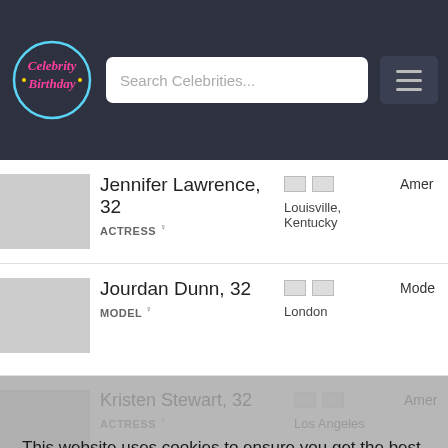[Figure (logo): Celebrity Birthday website logo - circular neon-style design with pink cursive text on dark background]
Search Celebrities...
Jennifer Lawrence, 32
ACTRESS ♀
Louisville, Kentucky
Amer...
Jourdan Dunn, 32
MODEL ♀
London
Mode...
Kristen Stewart, 32
ACTRESS ♀
Los Angeles
Amer...
Pixie Geldof, 31
MODEL ♀
London
Britis... and s...
This website uses cookies to ensure you get the best experience on our website.
Learn more
Got it!